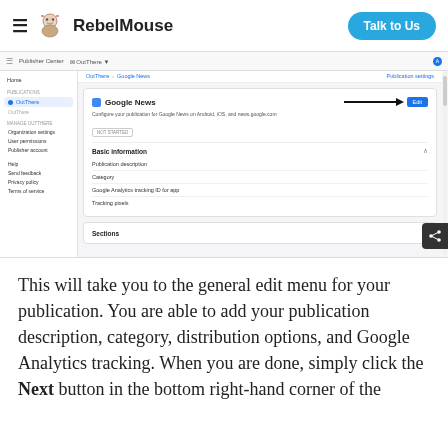RebelMouse — Talk to Us
[Figure (screenshot): Screenshot of Google News Publisher Center interface showing the Google News configuration panel with an Edit button highlighted by a black arrow, and sections for Basic information including Publication description, Category, Google Analytics tracking ID for app, Tracking pixels, and Sections.]
This will take you to the general edit menu for your publication. You are able to add your publication description, category, distribution options, and Google Analytics tracking. When you are done, simply click the Next button in the bottom right-hand corner of the